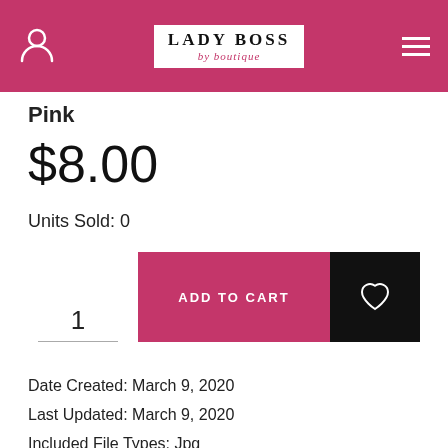Lady Boss by Boutique
Pink
$8.00
Units Sold: 0
1  ADD TO CART  [heart]
Date Created: March 9, 2020
Last Updated: March 9, 2020
Included File Types: Jpg
Compatible With: Microsoft PowerPoint